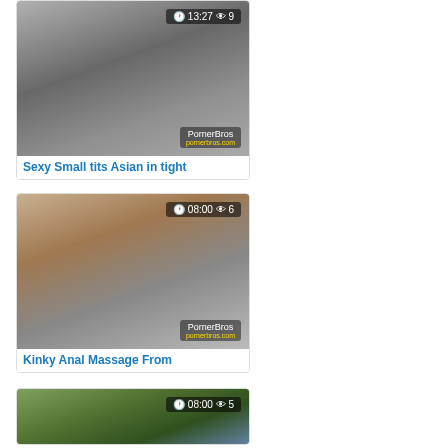[Figure (photo): Video thumbnail - female figure with tattoos, bedroom setting. Overlay: clock icon 13:27, eye icon 9. Watermark: PornerBros]
Sexy Small tits Asian in tight
[Figure (photo): Video thumbnail - female figure in kitchen setting. Overlay: clock icon 08:00, eye icon 6. Watermark: PornerBros]
Kinky Anal Massage From
[Figure (photo): Video thumbnail - outdoor pool/tropical setting with figures. Overlay: clock icon 08:00, eye icon 5.]